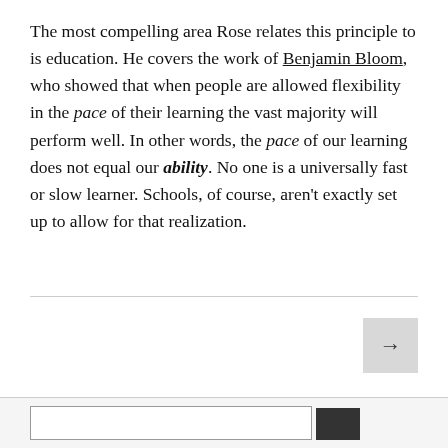The most compelling area Rose relates this principle to is education. He covers the work of Benjamin Bloom, who showed that when people are allowed flexibility in the pace of their learning the vast majority will perform well. In other words, the pace of our learning does not equal our ability. No one is a universally fast or slow learner. Schools, of course, aren't exactly set up to allow for that realization.